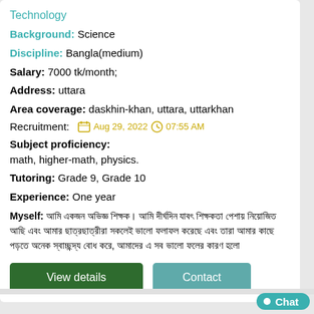Technology
Background: Science
Discipline: Bangla(medium)
Salary: 7000 tk/month;
Address: uttara
Area coverage: daskhin-khan, uttara, uttarkhan
Recruitment: Aug 29, 2022  07:55 AM
Subject proficiency:
math, higher-math, physics.
Tutoring: Grade 9, Grade 10
Experience: One year
Myself: [Bengali text]